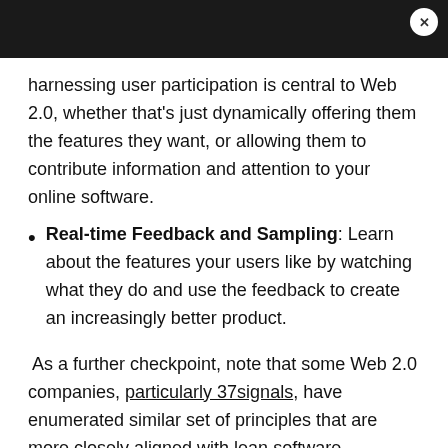harnessing user participation is central to Web 2.0, whether that's just dynamically offering them the features they want, or allowing them to contribute information and attention to your online software.
Real-time Feedback and Sampling: Learn about the features your users like by watching what they do and use the feedback to create an increasingly better product.
As a further checkpoint, note that some Web 2.0 companies, particularly 37signals, have enumerated similar set of principles that are more closely aligned with lean software development